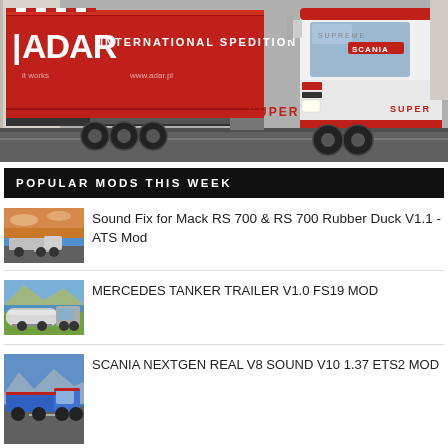[Figure (photo): A red ADAR International Spedition trailer truck with white Scania cab, parked in a yard]
POPULAR MODS THIS WEEK
[Figure (photo): Thumbnail for Sound Fix for Mack RS 700 & RS 700 Rubber Duck mod]
Sound Fix for Mack RS 700 & RS 700 Rubber Duck V1.1 - ATS Mod
[Figure (photo): Thumbnail for Mercedes Tanker Trailer mod]
MERCEDES TANKER TRAILER V1.0 FS19 Mod
[Figure (photo): Thumbnail for Scania NextGen Real V8 Sound mod]
SCANIA NEXTGEN REAL V8 SOUND V10 1.37 ETS2 Mod